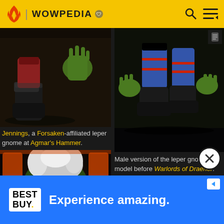WOWPEDIA
[Figure (screenshot): Close-up of a leper gnome character feet/legs in dark boots and green hands, game model from World of Warcraft]
[Figure (screenshot): Male leper gnome old model showing lower body with blue pants and dark boots on black background, before Warlords of Draenor update]
Jennings, a Forsaken-affiliated leper gnome at Agmar's Hammer.
Male version of the leper gnome, old model before Warlords of Draenor.
[Figure (illustration): Hearthstone-style card art showing a grotesque green zombie/leper gnome with white hair and glowing eyes, orange card border]
[Figure (illustration): Heroes of the Storm or similar game art showing a gnome character flying in a red and purple outfit with a potion bottle, magical effects]
[Figure (advertisement): Best Buy advertisement banner with blue background reading Experience amazing.]